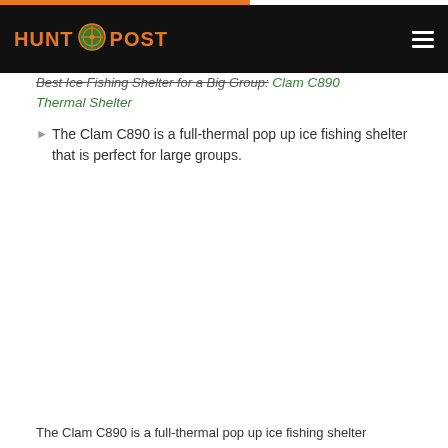HUNT POST
Best Ice Fishing Shelter for a Big Group: Clam C890 Thermal Shelter
[Figure (photo): Placeholder image of the Clam C890 full-thermal pop up ice fishing shelter for large groups. Shown as broken image with alt text: The Clam C890 is a full-thermal pop up ice fishing shelter that is perfect for large groups.]
The Clam C890 is a full-thermal pop up ice fishing shelter